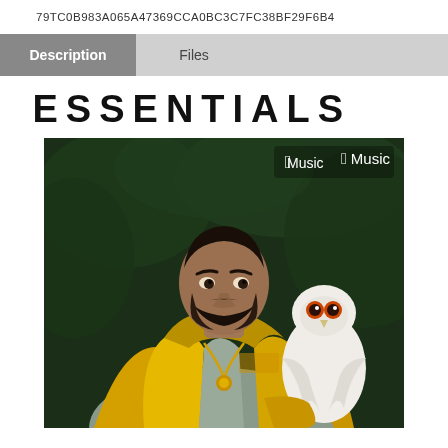79TC0B983A065A47369CCA0BC3C7FC38BF29F6B4
Description | Files
ESSENTIALS
[Figure (photo): Apple Music Essentials playlist cover art: man in yellow North Face puffer jacket holding a white owl, with Apple Music logo in upper right corner, dark green foliage background]